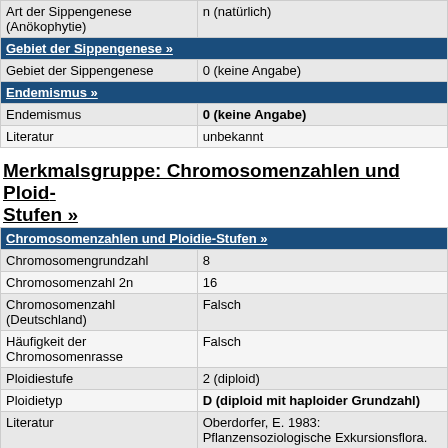| Art der Sippengenese (Anökophytie) | n (natürlich) |
| Gebiet der Sippengenese » |  |
| Gebiet der Sippengenese | 0 (keine Angabe) |
| Endemismus » |  |
| Endemismus | 0 (keine Angabe) |
| Literatur | unbekannt |
Merkmalsgruppe: Chromosomenzahlen und Ploidie-Stufen »
| Chromosomenzahlen und Ploidie-Stufen » |  |
| Chromosomengrundzahl | 8 |
| Chromosomenzahl 2n | 16 |
| Chromosomenzahl (Deutschland) | Falsch |
| Häufigkeit der Chromosomenrasse | Falsch |
| Ploidiestufe | 2 (diploid) |
| Ploidietyp | D (diploid mit haploider Grundzahl) |
| Literatur | Oberdorfer, E. 1983: Pflanzensoziologische Exkursionsflora. Ulmer, Stuttgart |
Merkmalsgruppe: Phylogenie »
| Phylogenie-Code » |  |
| Phylogenie-Code | BBBBBBBBBABBABBAABAABBAD |
Merkmalsgruppe: Morphologie »
| Lebensform » |  |